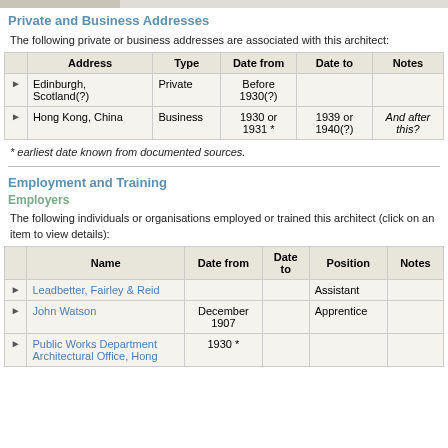Private and Business Addresses
The following private or business addresses are associated with this architect:
|  | Address | Type | Date from | Date to | Notes |
| --- | --- | --- | --- | --- | --- |
| ▶ | Edinburgh, Scotland(?) | Private | Before 1930(?) |  |  |
| ▶ | Hong Kong, China | Business | 1930 or 1931 * | 1939 or 1940(?) | And after this? |
* earliest date known from documented sources.
Employment and Training
Employers
The following individuals or organisations employed or trained this architect (click on an item to view details):
|  | Name | Date from | Date to | Position | Notes |
| --- | --- | --- | --- | --- | --- |
| ▶ | Leadbetter, Fairley & Reid |  |  | Assistant |  |
| ▶ | John Watson | December 1907 |  | Apprentice |  |
| ▶ | Public Works Department Architectural Office, Hong... | 1930 * |  |  |  |